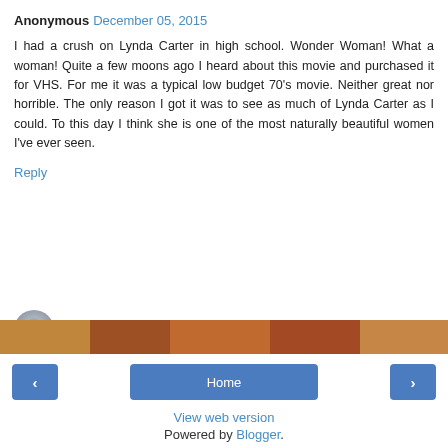Anonymous December 05, 2015
I had a crush on Lynda Carter in high school. Wonder Woman! What a woman! Quite a few moons ago I heard about this movie and purchased it for VHS. For me it was a typical low budget 70's movie. Neither great nor horrible. The only reason I got it was to see as much of Lynda Carter as I could. To this day I think she is one of the most naturally beautiful women I've ever seen.
Reply
Enter Comment
[Figure (photo): Colorful photo strip used as navigation background]
< Home >
View web version
Powered by Blogger.